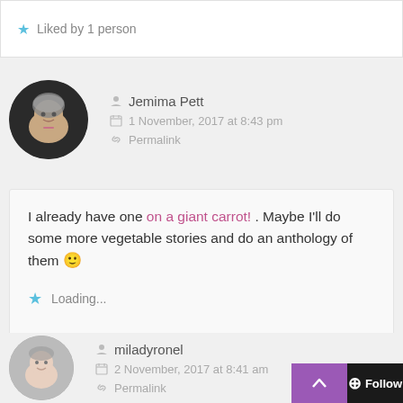Liked by 1 person
Jemima Pett
1 November, 2017 at 8:43 pm
Permalink
I already have one on a giant carrot! . Maybe I'll do some more vegetable stories and do an anthology of them 🙂
Loading...
miladyronel
2 November, 2017 at 8:41 am
Permalink